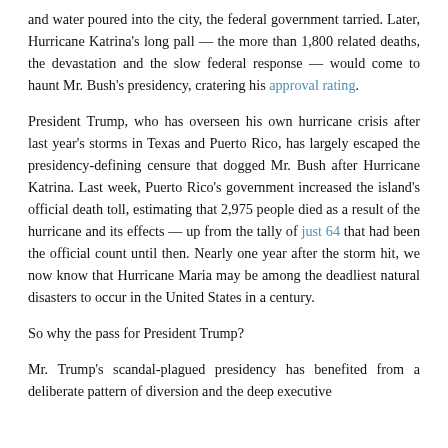and water poured into the city, the federal government tarried. Later, Hurricane Katrina's long pall — the more than 1,800 related deaths, the devastation and the slow federal response — would come to haunt Mr. Bush's presidency, cratering his approval rating.
President Trump, who has overseen his own hurricane crisis after last year's storms in Texas and Puerto Rico, has largely escaped the presidency-defining censure that dogged Mr. Bush after Hurricane Katrina. Last week, Puerto Rico's government increased the island's official death toll, estimating that 2,975 people died as a result of the hurricane and its effects — up from the tally of just 64 that had been the official count until then. Nearly one year after the storm hit, we now know that Hurricane Maria may be among the deadliest natural disasters to occur in the United States in a century.
So why the pass for President Trump?
Mr. Trump's scandal-plagued presidency has benefited from a deliberate pattern of diversion and the deep executive